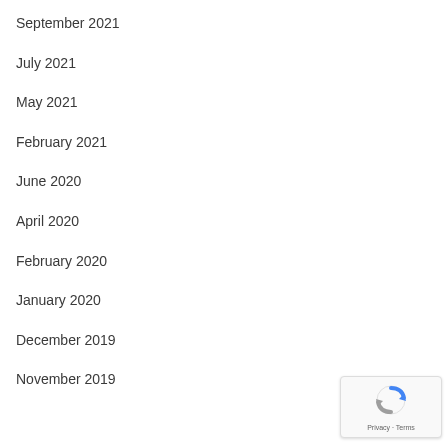September 2021
July 2021
May 2021
February 2021
June 2020
April 2020
February 2020
January 2020
December 2019
November 2019
[Figure (logo): reCAPTCHA badge with Privacy and Terms text]